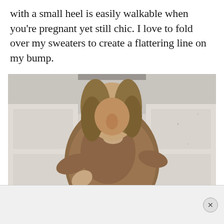with a small heel is easily walkable when you're pregnant yet still chic. I love to fold over my sweaters to create a flattering line on my bump.
[Figure (photo): A pregnant woman taking a mirror selfie, wearing a brown knit sweater folded at the waist revealing a striped maternity skirt or band, with curly hair. The background shows white paneled walls and ceiling.]
[Figure (other): Advertisement bar at the bottom of the page with a close/dismiss button (X) on the right side.]